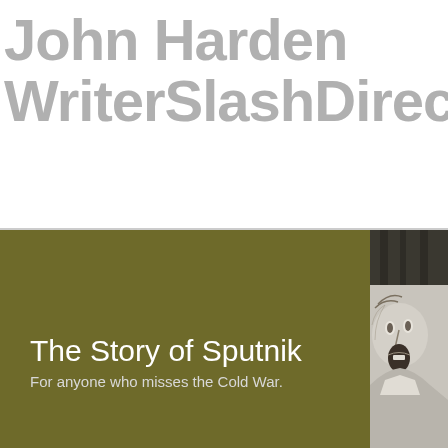John Harden WriterSlashDirector
[Figure (illustration): Olive/khaki colored panel on the left covering lower portion of page with a partially visible illustration of a person's face (screaming or expressive) on the right side panel with dark curtain/column in background]
The Story of Sputnik
For anyone who misses the Cold War.